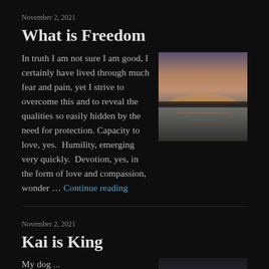November 2, 2021
What is Freedom
In truth I am not sure I am good, I certainly have lived through much fear and pain, yet I strive to overcome this and to reveal the qualities so easily hidden by the need for protection. Capacity to love, yes.  Humility, emerging very quickly.  Devotion, yes, in the form of love and compassion, wonder … Continue reading
[Figure (photo): Sunset over a calm lake with muted orange and grey tones]
November 2, 2021
Kai is King
My dog ...
[Figure (photo): Sunset landscape with road or field and bright light on horizon]